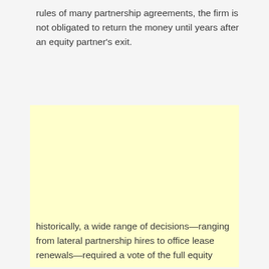rules of many partnership agreements, the firm is not obligated to return the money until years after an equity partner's exit.
[Figure (other): A large blank yellow/cream colored box, likely containing an image or redacted content not visible in this page crop.]
historically, a wide range of decisions—ranging from lateral partnership hires to office lease renewals—required a vote of the full equity